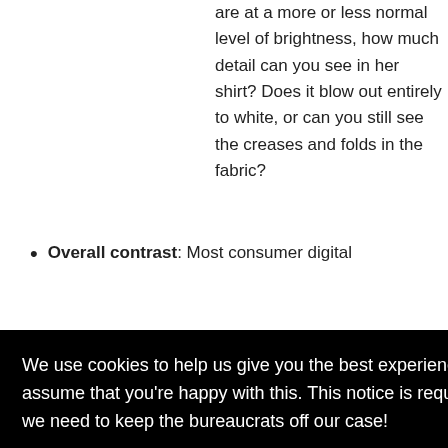are at a more or less normal level of brightness, how much detail can you see in her shirt? Does it blow out entirely to white, or can you still see the creases and folds in the fabric?
Overall contrast: Most consumer digital
We use cookies to help us give you the best experience on IR. If you continue to use this site, we will assume that you're happy with this. This notice is required by recent EU rules, and IR is read globally, so we need to keep the bureaucrats off our case!
Learn more
Got it!
Photoshop(tm) or another imaging program.